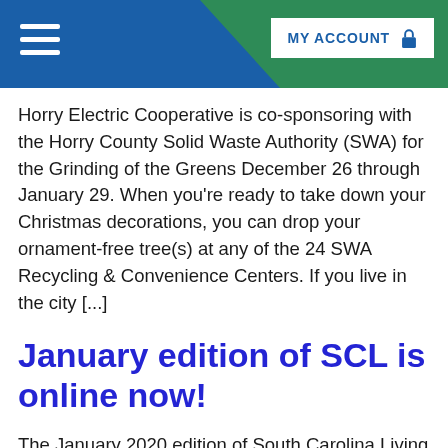MY ACCOUNT
Horry Electric Cooperative is co-sponsoring with the Horry County Solid Waste Authority (SWA) for the Grinding of the Greens December 26 through January 29. When you're ready to take down your Christmas decorations, you can drop your ornament-free tree(s) at any of the 24 SWA Recycling & Convenience Centers. If you live in the city [...]
January edition of SCL is online now!
The January 2020 edition of South Carolina Living magazine has been uploaded to horryelectric.com!  It will be delivered to mailboxes of subscribing members soon. The main part of South Carolina